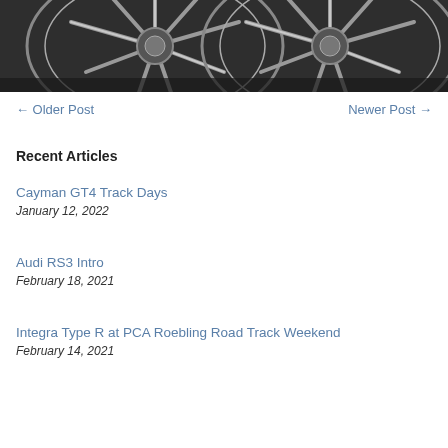[Figure (photo): Close-up photograph of two dark metallic multi-spoke alloy car wheels side by side on a wet surface]
← Older Post
Newer Post →
Recent Articles
Cayman GT4 Track Days
January 12, 2022
Audi RS3 Intro
February 18, 2021
Integra Type R at PCA Roebling Road Track Weekend
February 14, 2021